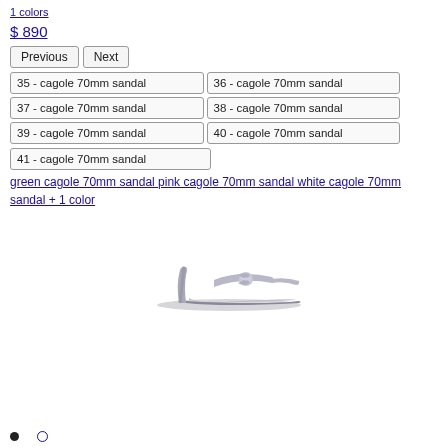1 colors
$ 890
Previous | Next
35 - cagole 70mm sandal
36 - cagole 70mm sandal
37 - cagole 70mm sandal
38 - cagole 70mm sandal
39 - cagole 70mm sandal
40 - cagole 70mm sandal
41 - cagole 70mm sandal
green cagole 70mm sandal pink cagole 70mm sandal white cagole 70mm sandal + 1 color
[Figure (photo): Silver/grey high heel mule sandal with decorative knot detail on strap, shown in profile view on white background.]
• ○